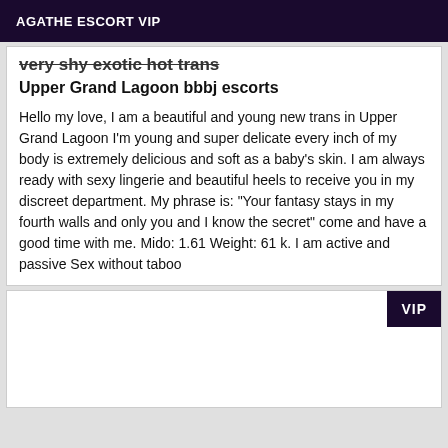AGATHE ESCORT VIP
very shy exotic hot trans
Upper Grand Lagoon bbbj escorts
Hello my love, I am a beautiful and young new trans in Upper Grand Lagoon I'm young and super delicate every inch of my body is extremely delicious and soft as a baby's skin. I am always ready with sexy lingerie and beautiful heels to receive you in my discreet department. My phrase is: "Your fantasy stays in my fourth walls and only you and I know the secret" come and have a good time with me. Mido: 1.61 Weight: 61 k. I am active and passive Sex without taboo
VIP